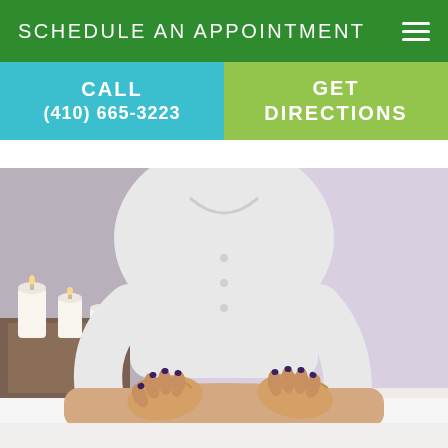SCHEDULE AN APPOINTMENT
CALL
(410) 665-3223
GET DIRECTIONS
[Figure (photo): A massage therapist in a white coat placing both hands on a patient's back while they lie on a massage table. Candles and a wooden tray are visible in the background.]